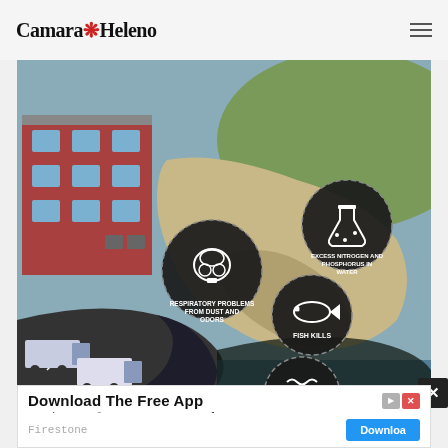Camara Heleno
[Figure (infographic): Environmental infographic showing an isometric industrial scene with a building, trucks on a road, and dark pollution runoff flowing into water. Three circular icons highlight: 'Respiratory Problems from Dust and Odors' (gas mask icon), 'Excess Nitrogen and Phosphorus in Water' (flask icon), 'Fish Kills' (fish icon), and 'Toxic Algal Blooms' (waves icon).]
Download The Free App
At Firestone®, We Guarantee Complete Care To Y To Ensure Your Car Is Safe.
Firestone
Download